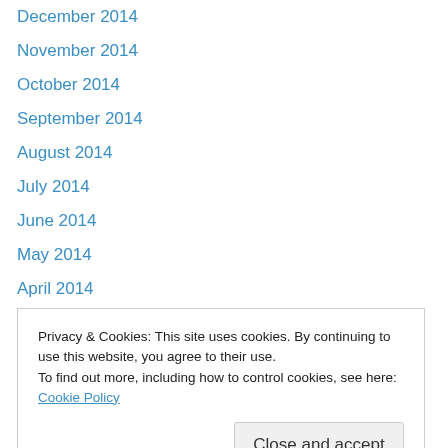December 2014
November 2014
October 2014
September 2014
August 2014
July 2014
June 2014
May 2014
April 2014
March 2014
February 2014
January 2014
December 2013
November 2013
May 2013
Privacy & Cookies: This site uses cookies. By continuing to use this website, you agree to their use.
To find out more, including how to control cookies, see here: Cookie Policy
Close and accept